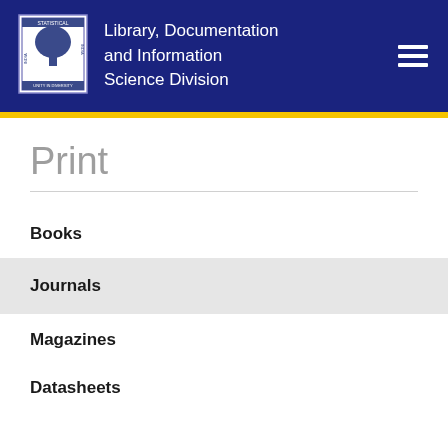Library, Documentation and Information Science Division
Print
Books
Journals
Magazines
Datasheets